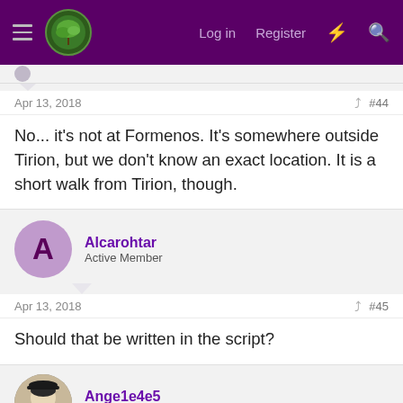Log in  Register
No... it's not at Formenos. It's somewhere outside Tirion, but we don't know an exact location. It is a short walk from Tirion, though.
#44  Apr 13, 2018
Alcarohtar
Active Member
#45  Apr 13, 2018
Should that be written in the script?
Ange1e4e5
Well-Known Member
#46  Apr 13, 2018